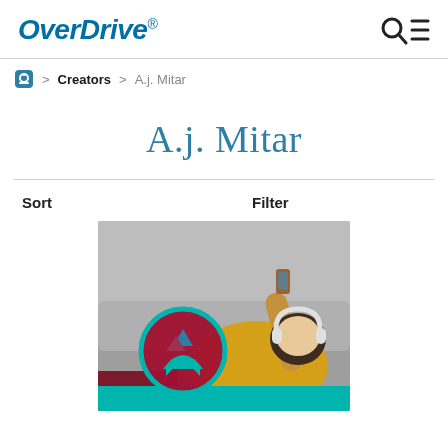OverDrive
Home > Creators > A.j. Mitar
A.j. Mitar
Sort    Filter
[Figure (photo): Book cover or audiobook thumbnail showing a woman in a yellow shirt lying on a couch wearing white headphones and looking at her phone, with the OverDrive/Libby app icon (teal and dark red circle logo) overlaid on the lower left of the image.]